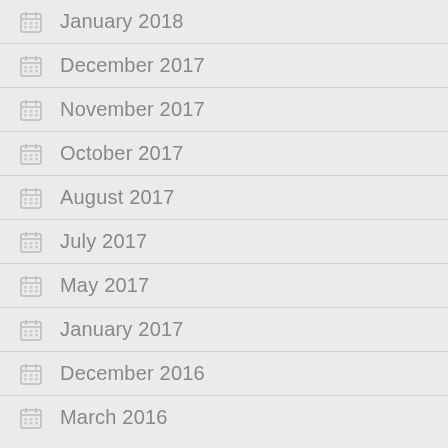January 2018
December 2017
November 2017
October 2017
August 2017
July 2017
May 2017
January 2017
December 2016
March 2016